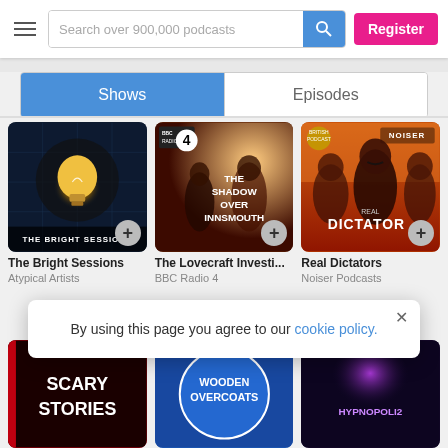Search over 900,000 podcasts | Register
Shows | Episodes
[Figure (screenshot): The Bright Sessions podcast cover art — light bulb on dark background]
The Bright Sessions
Atypical Artists
[Figure (screenshot): The Lovecraft Investigations BBC Radio 4 podcast cover — The Shadow Over Innsmouth]
The Lovecraft Investi...
BBC Radio 4
[Figure (screenshot): Real Dictators Noiser podcast cover — Stalin and Kim Jong-un on orange background]
Real Dictators
Noiser Podcasts
[Figure (screenshot): Scary Stories podcast cover — partial view at bottom]
[Figure (screenshot): Wooden Overcoats podcast cover — partial view at bottom]
[Figure (screenshot): Hypnopolis 2 podcast cover — partial view at bottom]
By using this page you agree to our cookie policy.